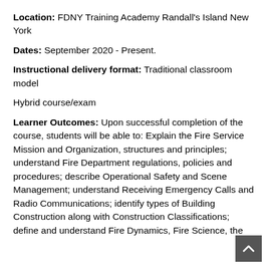Location: FDNY Training Academy Randall's Island New York
Dates: September 2020 - Present.
Instructional delivery format: Traditional classroom model
Hybrid course/exam
Learner Outcomes: Upon successful completion of the course, students will be able to: Explain the Fire Service Mission and Organization, structures and principles; understand Fire Department regulations, policies and procedures; describe Operational Safety and Scene Management; understand Receiving Emergency Calls and Radio Communications; identify types of Building Construction along with Construction Classifications; define and understand Fire Dynamics, Fire Science, the